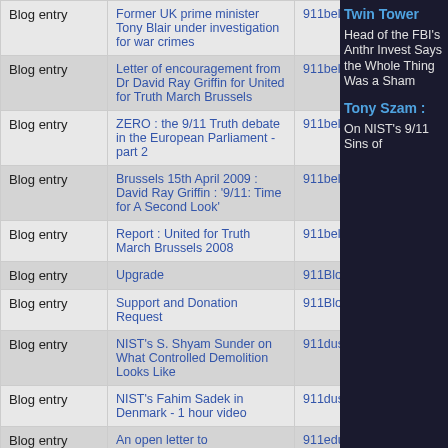| Type | Title | Source |
| --- | --- | --- |
| Blog entry | Former UK prime minister Tony Blair under investigation for war crimes | 911belgium |
| Blog entry | Letter of encouragement from Dr David Ray Griffin for United for Truth March Brussels | 911belgium |
| Blog entry | ZERO : the 9/11 Truth debate in the European Parliament - part 2 | 911belgium |
| Blog entry | Brussels 15th April 2009 : David Ray Griffin : '9/11: Time for A Second Look' | 911belgium |
| Blog entry | Report : United for Truth March Brussels 2008 | 911belgium |
| Blog entry | Upgrade | 911Blogger |
| Blog entry | Support and Donation Request | 911Blogger |
| Blog entry | NIST's S. Shyam Sunder on What Controlled Demolition Looks Like | 911dust |
| Blog entry | NIST's Fahim Sadek in Denmark - 1 hour video | 911dust |
| Blog entry | An open letter to 911educationprogramme.co.uk | 911educationprogramme.co.uk |
Twin Tower
Head of the FBI's Anthrax Investigation Says the Whole Thing Was a Sham
Tony Szamboti : On NIST's 9/11 Sins of